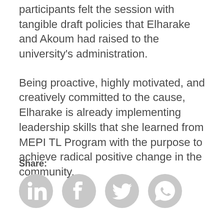participants felt the session with tangible draft policies that Elharake and Akoum had raised to the university's administration.
Being proactive, highly motivated, and creatively committed to the cause, Elharake is already implementing leadership skills that she learned from MEPI TL Program with the purpose to achieve radical positive change in the community.
Share:
[Figure (infographic): Four circular social media share icons in gray: LinkedIn, Facebook, Twitter, WhatsApp]